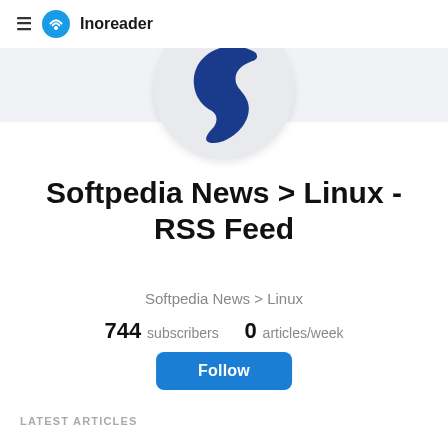≡  Inoreader
[Figure (logo): Softpedia logo: circular grey background with a bold dark blue letter S]
Softpedia News > Linux - RSS Feed
Softpedia News > Linux
744 subscribers  0 articles/week
Follow
LATEST ARTICLES